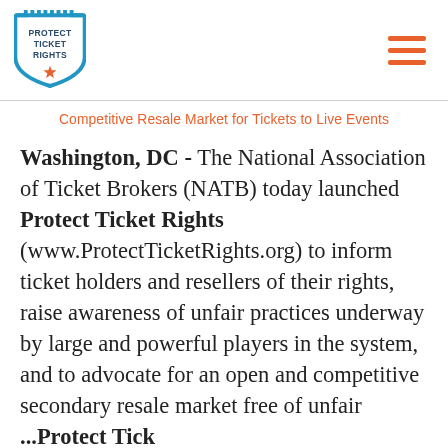Protect Ticket Rights logo and navigation
Competitive Resale Market for Tickets to Live Events
Washington, DC - The National Association of Ticket Brokers (NATB) today launched Protect Ticket Rights (www.ProtectTicketRights.org) to inform ticket holders and resellers of their rights, raise awareness of unfair practices underway by large and powerful players in the system, and to advocate for an open and competitive secondary resale market free of unfair problems of the system...Protect Tick...